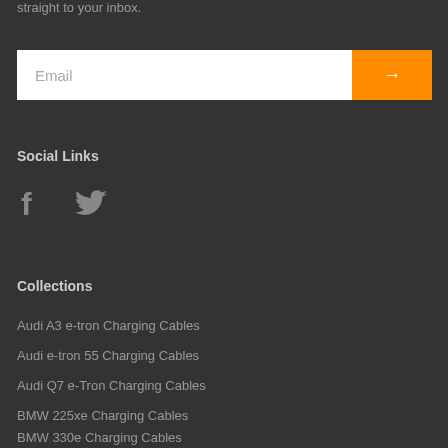straight to your inbox.
[Figure (other): Email input field with orange submit button containing arrow]
Social Links
[Figure (other): Facebook and Twitter social media icons]
Collections
Audi A3 e-tron Charging Cables
Audi e-tron 55 Charging Cables
Audi Q7 e-Tron Charging Cables
BMW 225xe Charging Cables
BMW 330e Charging Cables